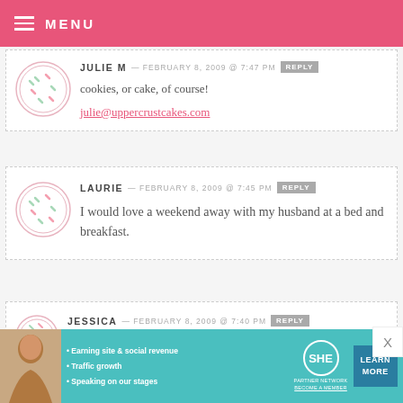MENU
JULIE M — FEBRUARY 8, 2009 @ 7:47 PM  REPLY
cookies, or cake, of course!
julie@uppercrustcakes.com
LAURIE — FEBRUARY 8, 2009 @ 7:45 PM  REPLY
I would love a weekend away with my husband at a bed and breakfast.
JESSICA — FEBRUARY 8, 2009 @ 7:40 PM  REPLY
[Figure (infographic): SHE Partner Network advertisement banner with photo of woman, bullet points about earning site revenue, traffic growth, speaking on stages, SHE logo, and Learn More button]